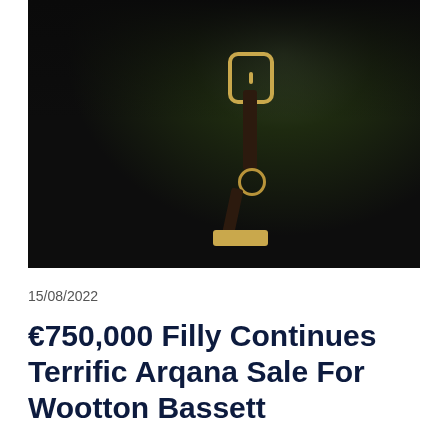[Figure (photo): Close-up photograph of a black horse wearing a dark leather halter/bridle with gold buckle hardware and a nameplate, against a blurred dark green background.]
15/08/2022
€750,000 Filly Continues Terrific Arqana Sale For Wootton Bassett